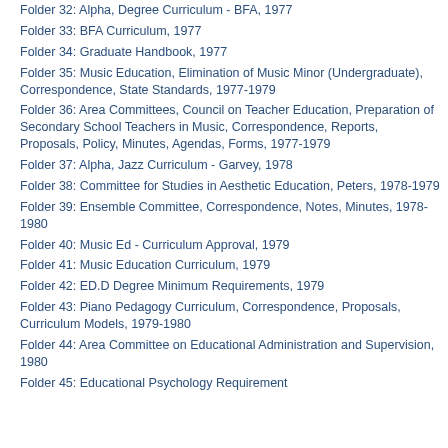Folder 32: Alpha, Degree Curriculum - BFA, 1977
Folder 33: BFA Curriculum, 1977
Folder 34: Graduate Handbook, 1977
Folder 35: Music Education, Elimination of Music Minor (Undergraduate), Correspondence, State Standards, 1977-1979
Folder 36: Area Committees, Council on Teacher Education, Preparation of Secondary School Teachers in Music, Correspondence, Reports, Proposals, Policy, Minutes, Agendas, Forms, 1977-1979
Folder 37: Alpha, Jazz Curriculum - Garvey, 1978
Folder 38: Committee for Studies in Aesthetic Education, Peters, 1978-1979
Folder 39: Ensemble Committee, Correspondence, Notes, Minutes, 1978-1980
Folder 40: Music Ed - Curriculum Approval, 1979
Folder 41: Music Education Curriculum, 1979
Folder 42: ED.D Degree Minimum Requirements, 1979
Folder 43: Piano Pedagogy Curriculum, Correspondence, Proposals, Curriculum Models, 1979-1980
Folder 44: Area Committee on Educational Administration and Supervision, 1980
Folder 45: Educational Psychology Requirement